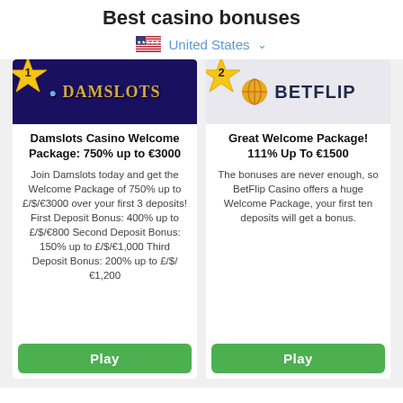Best casino bonuses
United States
[Figure (screenshot): Damslots Casino logo on dark blue/purple background with gold text]
Damslots Casino Welcome Package: 750% up to €3000
Join Damslots today and get the Welcome Package of 750% up to £/$/€3000 over your first 3 deposits! First Deposit Bonus: 400% up to £/$/€800 Second Deposit Bonus: 150% up to £/$/€1,000 Third Deposit Bonus: 200% up to £/$/€1,200
[Figure (logo): BetFlip logo with globe icon on light grey background]
Great Welcome Package! 111% Up To €1500
The bonuses are never enough, so BetFlip Casino offers a huge Welcome Package, your first ten deposits will get a bonus.